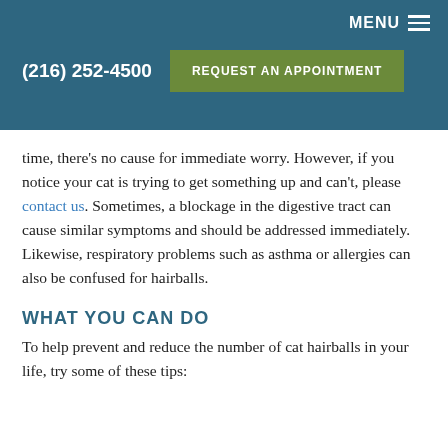MENU
(216) 252-4500
REQUEST AN APPOINTMENT
time, there's no cause for immediate worry. However, if you notice your cat is trying to get something up and can't, please contact us. Sometimes, a blockage in the digestive tract can cause similar symptoms and should be addressed immediately. Likewise, respiratory problems such as asthma or allergies can also be confused for hairballs.
WHAT YOU CAN DO
To help prevent and reduce the number of cat hairballs in your life, try some of these tips: